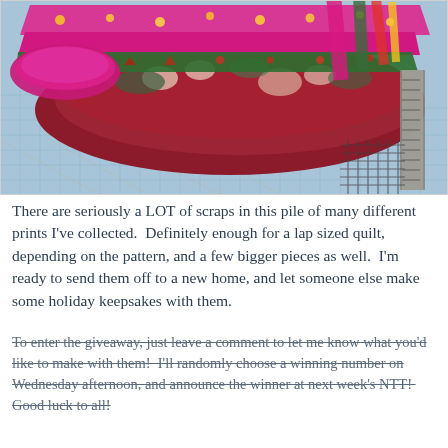[Figure (photo): A pile of colorful holiday-themed quilt fabric scraps stacked on a blue cutting mat with a ruler. Fabrics include bright pink, red, green, and floral prints.]
There are seriously a LOT of scraps in this pile of many different prints I've collected.  Definitely enough for a lap sized quilt, depending on the pattern, and a few bigger pieces as well.  I'm ready to send them off to a new home, and let someone else make some holiday keepsakes with them.
To enter the giveaway, just leave a comment to let me know what you'd like to make with them!  I'll randomly choose a winning number on Wednesday afternoon, and announce the winner at next week's NTT!  Good luck to all!